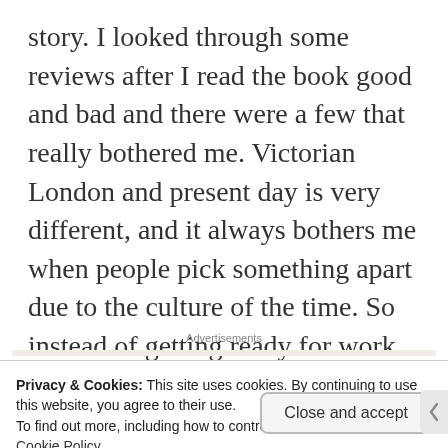story. I looked through some reviews after I read the book good and bad and there were a few that really bothered me. Victorian London and present day is very different, and it always bothers me when people pick something apart due to the culture of the time. So instead of getting ready for work the morning, this was set to go live I am taking out the history lesson and the in-depth this is why the characters acted this way or said that section of this post.
Advertisements
Privacy & Cookies: This site uses cookies. By continuing to use this website, you agree to their use.
To find out more, including how to control cookies, see here:
Cookie Policy
Close and accept